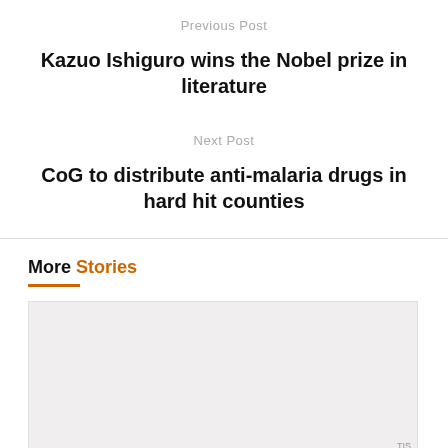Previous Post
Kazuo Ishiguro wins the Nobel prize in literature
Next Post
CoG to distribute anti-malaria drugs in hard hit counties
More Stories
[Figure (photo): Placeholder image for a story card in the More Stories section]